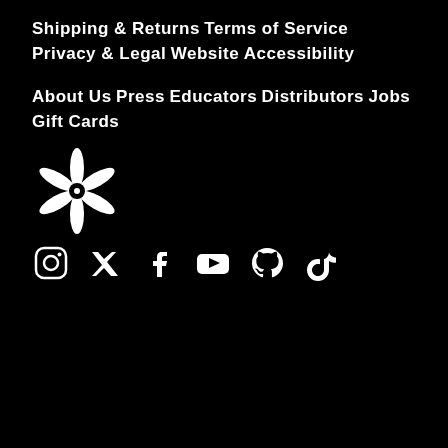Shipping & Returns
Terms of Service
Privacy & Legal
Website Accessibility
About Us
Press
Educators
Distributors
Jobs
Gift Cards
[Figure (logo): White flower/asterisk logo on black background]
[Figure (infographic): Social media icons row: Instagram, Twitter, Facebook, YouTube, GitHub, TikTok]